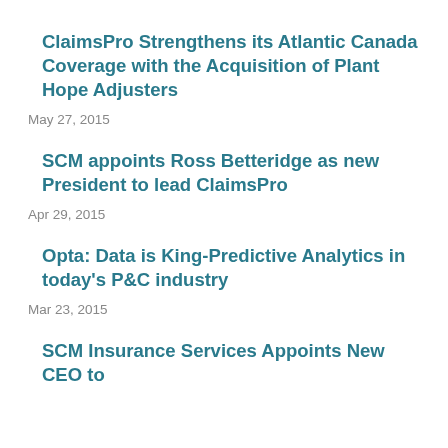ClaimsPro Strengthens its Atlantic Canada Coverage with the Acquisition of Plant Hope Adjusters
May 27, 2015
SCM appoints Ross Betteridge as new President to lead ClaimsPro
Apr 29, 2015
Opta: Data is King-Predictive Analytics in today’s P&C industry
Mar 23, 2015
SCM Insurance Services Appoints New CEO to